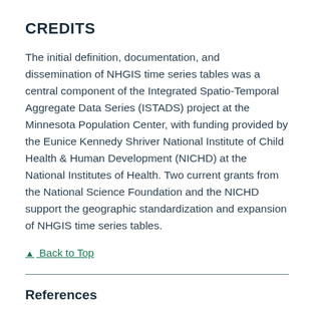CREDITS
The initial definition, documentation, and dissemination of NHGIS time series tables was a central component of the Integrated Spatio-Temporal Aggregate Data Series (ISTADS) project at the Minnesota Population Center, with funding provided by the Eunice Kennedy Shriver National Institute of Child Health & Human Development (NICHD) at the National Institutes of Health. Two current grants from the National Science Foundation and the NICHD support the geographic standardization and expansion of NHGIS time series tables.
▲ Back to Top
References